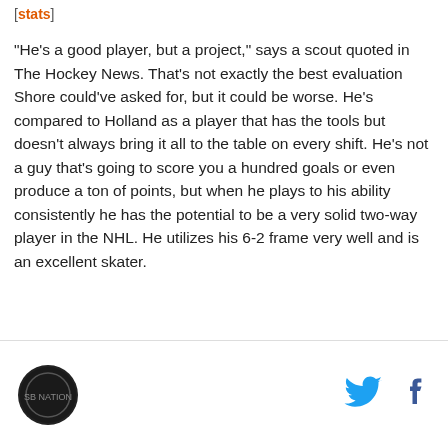[stats]
"He's a good player, but a project," says a scout quoted in The Hockey News. That's not exactly the best evaluation Shore could've asked for, but it could be worse. He's compared to Holland as a player that has the tools but doesn't always bring it all to the table on every shift. He's not a guy that's going to score you a hundred goals or even produce a ton of points, but when he plays to his ability consistently he has the potential to be a very solid two-way player in the NHL. He utilizes his 6-2 frame very well and is an excellent skater.
Kyle Palmieri, 5-10, 193 pounds, US NTDP -- [video] -
[Figure (logo): Circular logo with dark background]
[Figure (logo): Twitter bird icon in cyan blue]
[Figure (logo): Facebook f icon in dark blue]